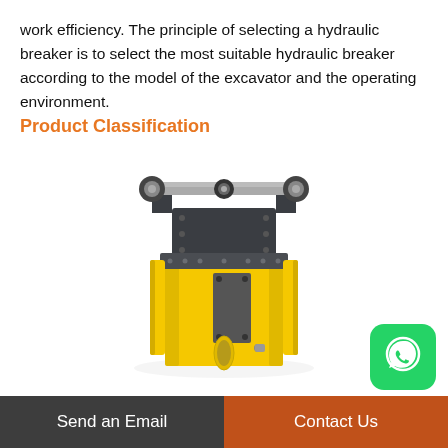work efficiency. The principle of selecting a hydraulic breaker is to select the most suitable hydraulic breaker according to the model of the excavator and the operating environment.
Product Classification
[Figure (photo): Yellow and dark grey hydraulic breaker / rock hammer attachment for an excavator, showing mounting bracket at top and elongated hammer body in yellow with grey accent panels.]
Send an Email   Contact Us